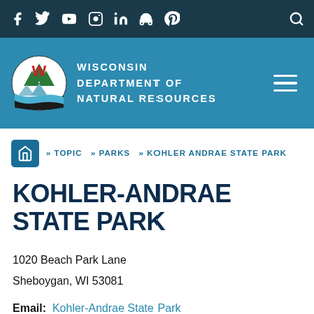Social media icons: Facebook, Twitter, YouTube, Instagram, LinkedIn, Audio, Pinterest; Search icon
[Figure (logo): Wisconsin Department of Natural Resources logo and header with W emblem and navigation hamburger menu]
» TOPIC » PARKS » KOHLER ANDRAE STATE PARK
KOHLER-ANDRAE STATE PARK
1020 Beach Park Lane
Sheboygan, WI 53081
Email: Kohler-Andrae State Park
Ph